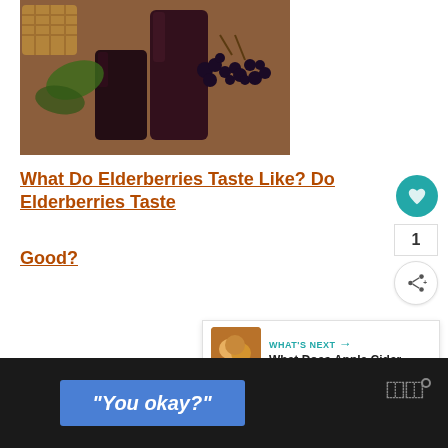[Figure (photo): Glasses of dark elderberry juice with fresh elderberries and leaves on a wooden table]
What Do Elderberries Taste Like? Do Elderberries Taste Good?
[Figure (infographic): Heart/like button (teal circle), count of 1, and share button]
[Figure (infographic): What's Next panel showing Apple Cider thumbnail and label]
[Figure (screenshot): Bottom video frame with blue banner reading 'You okay?' and brand logo]